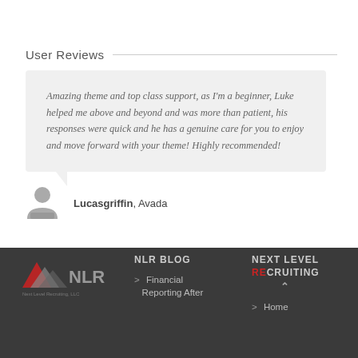User Reviews
Amazing theme and top class support, as I'm a beginner, Luke helped me above and beyond and was more than patient, his responses were quick and he has a genuine care for you to enjoy and move forward with your theme! Highly recommended!
Lucasgriffin, Avada
[Figure (logo): NLR Next Level Recruiting LLC logo with red and grey stacked triangles]
NLR BLOG
Financial Reporting After
NEXT LEVEL RECRUITING
Home